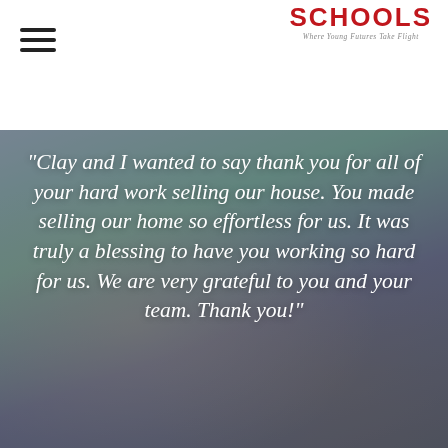[Figure (logo): Schools logo with red text 'SCHOOLS' and italic tagline 'Where Young Futures Take Flight']
[Figure (photo): Blurred background photo of hands working on a laptop/desk, used as background for a testimonial quote overlay]
"Clay and I wanted to say thank you for all of your hard work selling our house. You made selling our home so effortless for us. It was truly a blessing to have you working so hard for us. We are very grateful to you and your team. Thank you!"